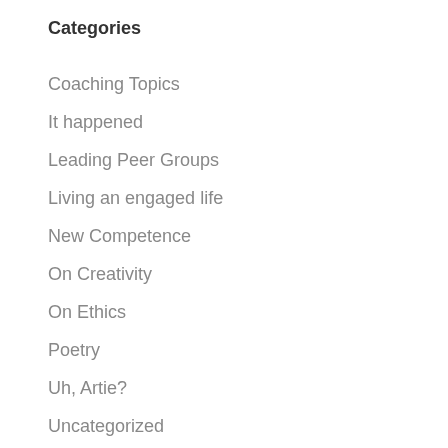Categories
Coaching Topics
It happened
Leading Peer Groups
Living an engaged life
New Competence
On Creativity
On Ethics
Poetry
Uh, Artie?
Uncategorized